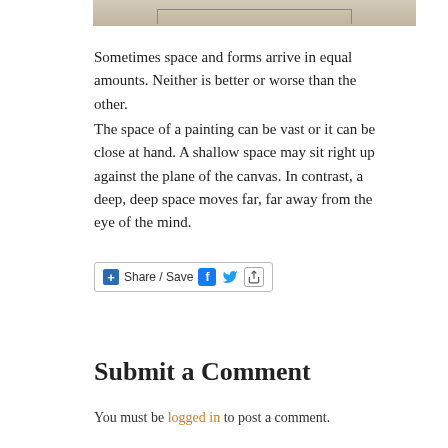[Figure (photo): Partial view of a painting or canvas with muted beige/grey tones and faint line forms, cropped at top of page]
Sometimes space and forms arrive in equal amounts. Neither is better or worse than the other.
The space of a painting can be vast or it can be close at hand. A shallow space may sit right up against the plane of the canvas. In contrast, a deep, deep space moves far, far away from the eye of the mind.
[Figure (other): Share / Save social media button widget with Facebook, Twitter, and share icons]
Submit a Comment
You must be logged in to post a comment.